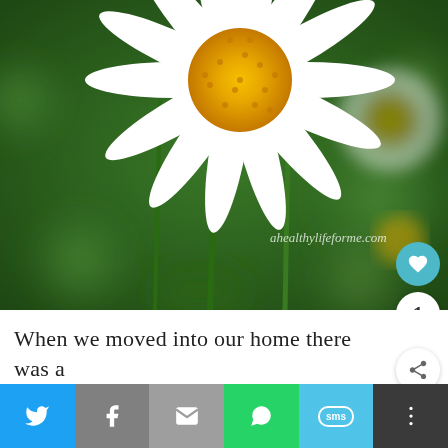[Figure (photo): Close-up photograph of white daisy flowers (possibly Shasta daisies or chamomile) with golden-yellow centers against a blurred green background. The image shows two prominent daisy flower heads — one fully open at top and one partially open at bottom. Watermark reads 'ahealthylifeforme.com']
When we moved into our home there was a fl…
WHAT'S NEXT → Growing Salvia; sage
[Figure (photo): Small thumbnail image of purple salvia/sage flowers]